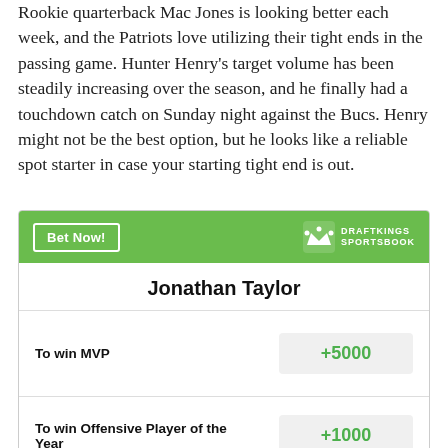Rookie quarterback Mac Jones is looking better each week, and the Patriots love utilizing their tight ends in the passing game. Hunter Henry's target volume has been steadily increasing over the season, and he finally had a touchdown catch on Sunday night against the Bucs. Henry might not be the best option, but he looks like a reliable spot starter in case your starting tight end is out.
| Jonathan Taylor |  |
| --- | --- |
| To win MVP | +5000 |
| To win Offensive Player of the Year | +1000 |